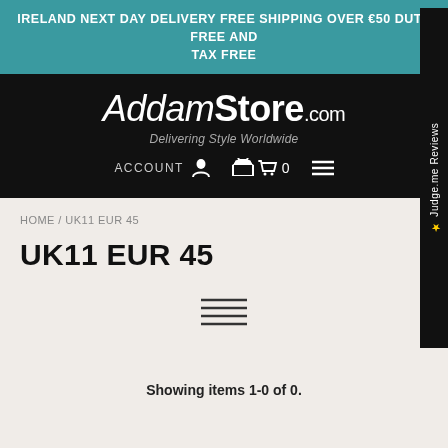IRELAND NEXT DAY DELIVERY FREE SHIPPING OVER €50 DUTY FREE AND TAX FREE
[Figure (logo): AddamStore.com logo with tagline 'Delivering Style Worldwide' on black background, with ACCOUNT, cart (0), and menu icons]
HOME / UK11 EUR 45
UK11 EUR 45
[Figure (other): Filter/sort horizontal lines icon]
Showing items 1-0 of 0.